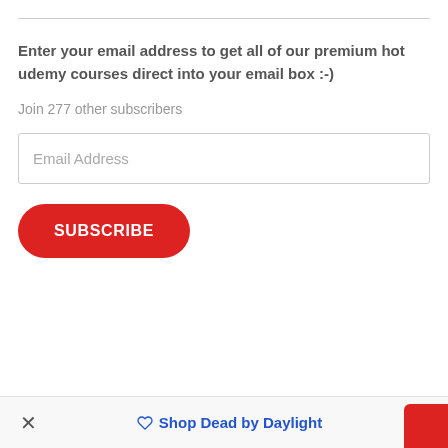Enter your email address to get all of our premium hot udemy courses direct into your email box :-)
Join 277 other subscribers
[Figure (screenshot): Email address input field with placeholder text 'Email Address']
[Figure (screenshot): Red rounded SUBSCRIBE button]
× Shop Dead by Daylight ^